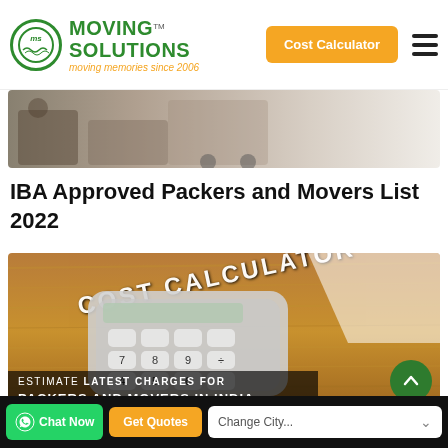Moving Solutions — moving memories since 2006 | Cost Calculator
[Figure (photo): Partial view of a moving/relocation scene with boxes and a vehicle, cropped at top]
IBA Approved Packers and Movers List 2022
[Figure (photo): Cost Calculator image showing a physical calculator on a wooden surface with text 'COST CALCULATOR' at top and overlay text 'ESTIMATE LATEST CHARGES FOR PACKERS AND MOVERS IN INDIA' at bottom]
Chat Now | Get Quotes | Change City...